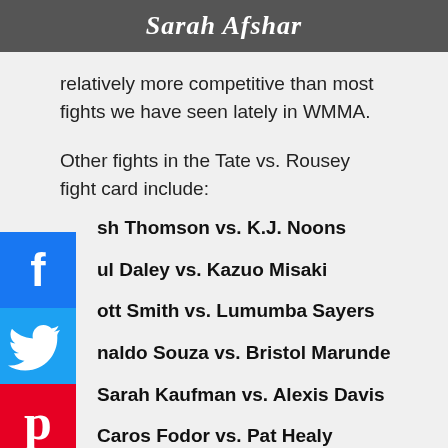Sarah Afshar
relatively more competitive than most fights we have seen lately in WMMA.
Other fights in the Tate vs. Rousey fight card include:
sh Thomson vs. K.J. Noons
ul Daley vs. Kazuo Misaki
ott Smith vs. Lumumba Sayers
naldo Souza vs. Bristol Marunde
Sarah Kaufman vs. Alexis Davis
Caros Fodor vs. Pat Healy
Ryan Couture vs. Conor Heun
Roger Bowling vs. Brandon Saling